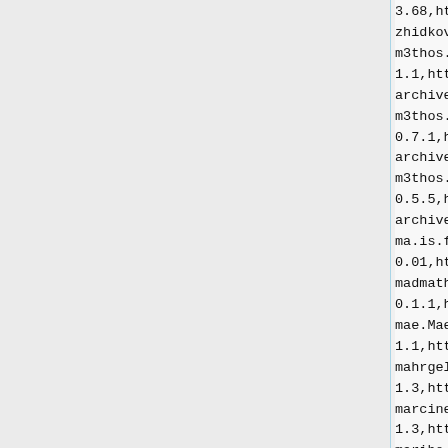3.68,https://github.com/alekseyzhidkov/Tomcat/raw/develop/buil
m3thos.Eva00
1.1,http://robocode-archive.strangeautomata.com/rob
m3thos.Eva02
0.7.1,http://robocode-archive.strangeautomata.com/rob
m3thos.mini.Eva01
0.5.5,http://robocode-archive.strangeautomata.com/rob
ma.is.fon.rs.RobotA
0.01,http://www.robocodereposit
madmath.Cow
0.1.1,http://www.robocodereposi
mae.Mae1
1.1,http://www.robocodereposito
mahrgell.mahrram
1.3,http://www.robocodereposito
marcinek.TopGun
1.3,http://www.robocodereposito
maribo.FollowFire
1.11,http://www.robocodereposit
maribo.IotaCT
1.0,http://www.robocodereposit